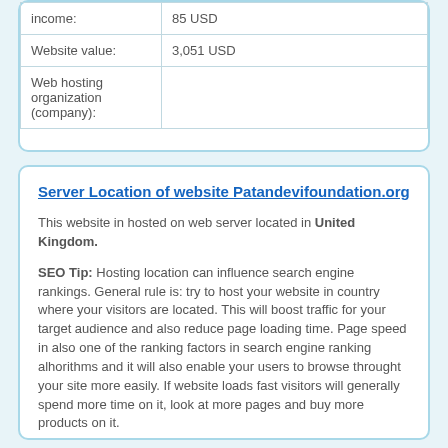| income: | 85 USD |
| Website value: | 3,051 USD |
| Web hosting organization (company): |  |
Server Location of website Patandevifoundation.org
This website in hosted on web server located in United Kingdom.
SEO Tip: Hosting location can influence search engine rankings. General rule is: try to host your website in country where your visitors are located. This will boost traffic for your target audience and also reduce page loading time. Page speed in also one of the ranking factors in search engine ranking alhorithms and it will also enable your users to browse throught your site more easily. If website loads fast visitors will generally spend more time on it, look at more pages and buy more products on it.